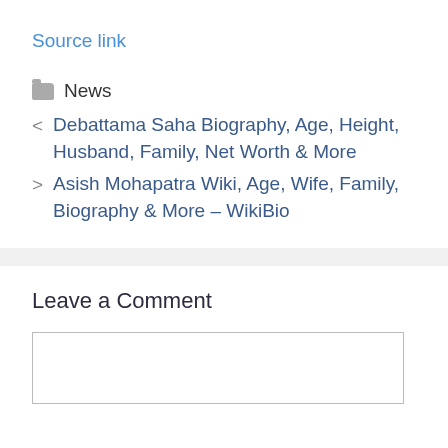Source link
News
< Debattama Saha Biography, Age, Height, Husband, Family, Net Worth & More
> Asish Mohapatra Wiki, Age, Wife, Family, Biography & More – WikiBio
Leave a Comment